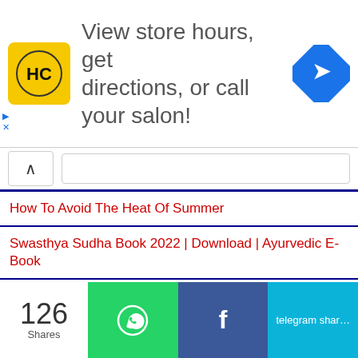[Figure (infographic): Advertisement banner: HC logo (yellow circle with HC text), text 'View store hours, get directions, or call your salon!' and a blue diamond direction arrow icon. Small ad controls (triangle/X) on left side.]
How To Avoid The Heat Of Summer
Swasthya Sudha Book 2022 | Download | Ayurvedic E-Book
Turmeric Has Also Proved To Be Effective In Relieving Joint Pain After Cancer
Learn About The Kidney Diseases
GUJARAT GURUJI - September 10, 2021
Related Posts
Share
126 Shares